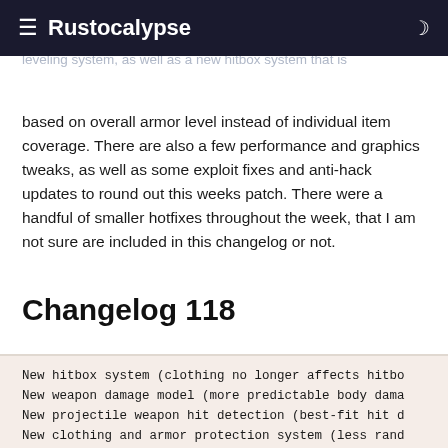≡ Rustocalypse
leveling system, as well as a new hitbox system that is
based on overall armor level instead of individual item coverage. There are also a few performance and graphics tweaks, as well as some exploit fixes and anti-hack updates to round out this weeks patch. There were a handful of smaller hotfixes throughout the week, that I am not sure are included in this changelog or not.
Changelog 118
New hitbox system (clothing no longer affects hitbo...
New weapon damage model (more predictable body dama...
New projectile weapon hit detection (best-fit hit d...
New clothing and armor protection system (less rand...
Animals now also use detailed hitboxes with damage...
3rd person pre-throw animations for rock and spears...